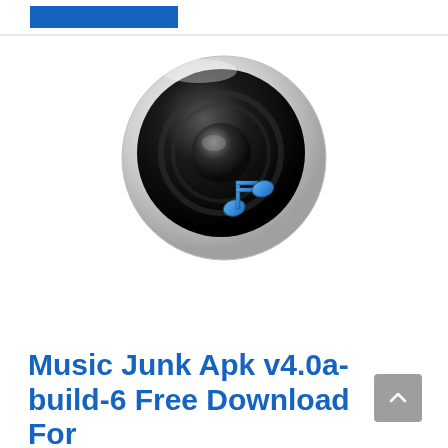[Figure (logo): Music Junk app icon: a circular speaker/woofer with a glossy black dome, surrounded by a silver/white bezel, with blue musical notes (eighth notes) overlaid in the lower right]
Music Junk Apk v4.0a-build-6 Free Download For